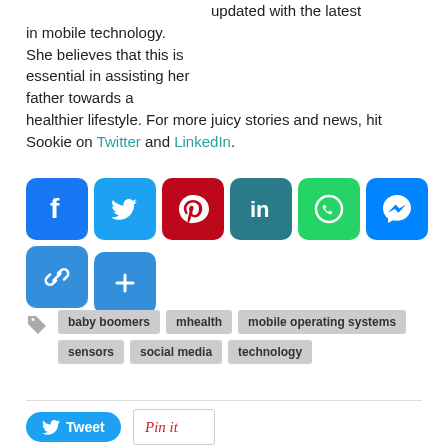updated with the latest in mobile technology. She believes that this is essential in assisting her father towards a healthier lifestyle. For more juicy stories and news, hit Sookie on Twitter and LinkedIn.
[Figure (infographic): Social media sharing icons: Facebook (blue), Twitter (light blue), Pinterest (dark red), LinkedIn (green-teal), WhatsApp (green), Messenger (blue), Link (blue), and a More (+) button (blue)]
baby boomers
mhealth
mobile operating systems
sensors
social media
technology
[Figure (infographic): Tweet button and Pin it button for social sharing]